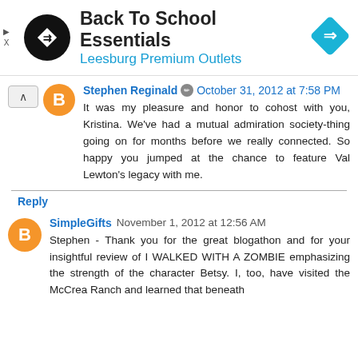[Figure (other): Ad banner for 'Back To School Essentials' at Leesburg Premium Outlets with logo circle and arrow diamond icon]
Stephen Reginald  October 31, 2012 at 7:58 PM

It was my pleasure and honor to cohost with you, Kristina. We've had a mutual admiration society-thing going on for months before we really connected. So happy you jumped at the chance to feature Val Lewton's legacy with me.
Reply
SimpleGifts  November 1, 2012 at 12:56 AM

Stephen - Thank you for the great blogathon and for your insightful review of I WALKED WITH A ZOMBIE emphasizing the strength of the character Betsy. I, too, have visited the McCrea Ranch and learned that beneath